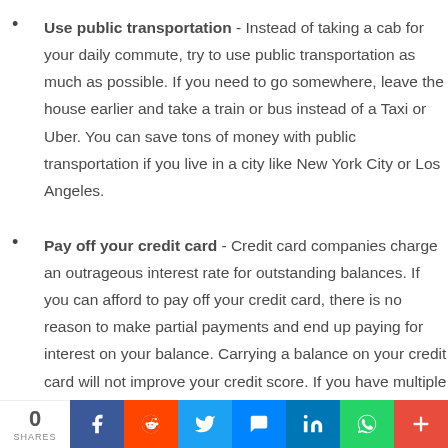Use public transportation - Instead of taking a cab for your daily commute, try to use public transportation as much as possible. If you need to go somewhere, leave the house earlier and take a train or bus instead of a Taxi or Uber. You can save tons of money with public transportation if you live in a city like New York City or Los Angeles.
Pay off your credit card - Credit card companies charge an outrageous interest rate for outstanding balances. If you can afford to pay off your credit card, there is no reason to make partial payments and end up paying for interest on your balance. Carrying a balance on your credit card will not improve your credit score. If you have multiple credit cards,